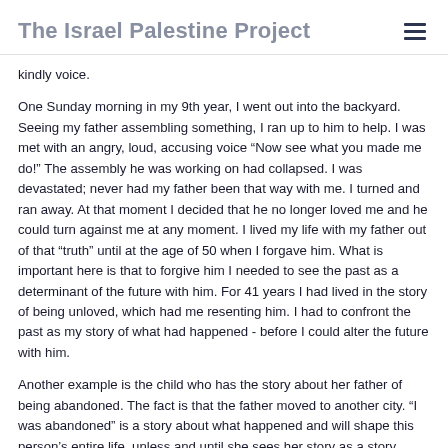The Israel Palestine Project
kindly voice.
One Sunday morning in my 9th year, I went out into the backyard. Seeing my father assembling something, I ran up to him to help. I was met with an angry, loud, accusing voice “Now see what you made me do!” The assembly he was working on had collapsed. I was devastated; never had my father been that way with me. I turned and ran away. At that moment I decided that he no longer loved me and he could turn against me at any moment. I lived my life with my father out of that “truth” until at the age of 50 when I forgave him. What is important here is that to forgive him I needed to see the past as a determinant of the future with him. For 41 years I had lived in the story of being unloved, which had me resenting him. I had to confront the past as my story of what had happened - before I could alter the future with him.
Another example is the child who has the story about her father of being abandoned. The fact is that the father moved to another city. “I was abandoned” is a story about what happened and will shape this person’s entire life, unless and until she sees her story as a story.